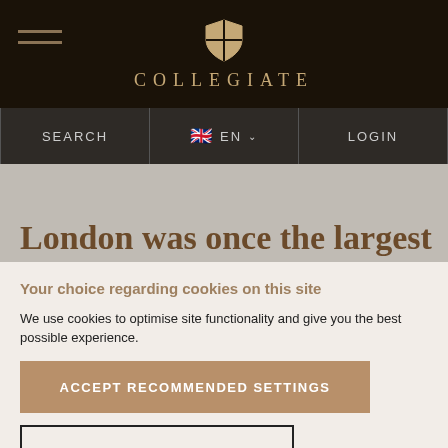COLLEGIATE
SEARCH | EN | LOGIN
London was once the largest
Your choice regarding cookies on this site
We use cookies to optimise site functionality and give you the best possible experience.
ACCEPT RECOMMENDED SETTINGS
MANAGE PREFERENCES